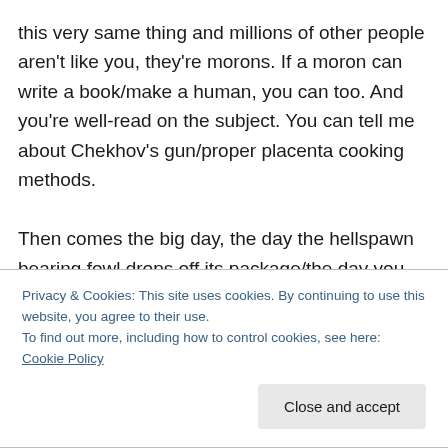this very same thing and millions of other people aren't like you, they're morons. If a moron can write a book/make a human, you can too. And you're well-read on the subject. You can tell me about Chekhov's gun/proper placenta cooking methods.

Then comes the big day, the day the hellspawn bearing fowl drops off its package/the day you get, oh say, five thousand words in to your first draft. This is the first instance of PP for most people, and it usually requires a change of clothing on both fronts. All of the sudden, every.
Privacy & Cookies: This site uses cookies. By continuing to use this website, you agree to their use.
To find out more, including how to control cookies, see here: Cookie Policy
Close and accept